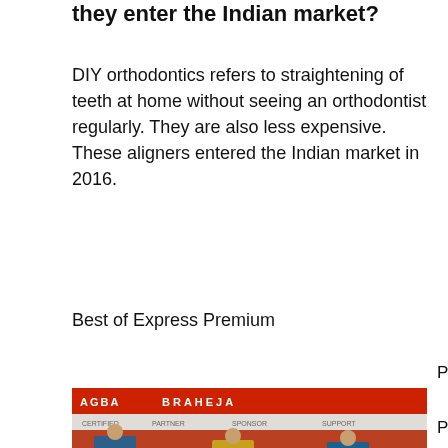they enter the Indian market?
DIY orthodontics refers to straightening of teeth at home without seeing an orthodontist regularly. They are also less expensive. These aligners entered the Indian market in 2016.
Best of Express Premium
Premium
[Figure (photo): Photo of a panel discussion on stage with three people seated, red backdrop with BRAHEJA branding, logos strip visible, green grass floor covering]
Premium